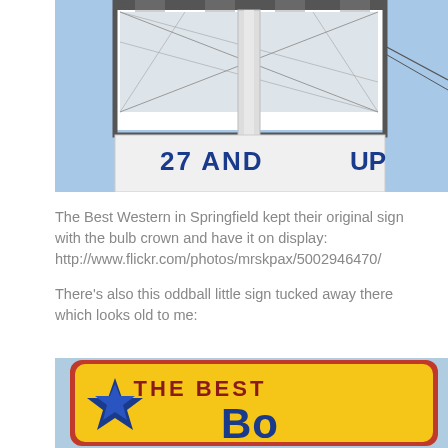[Figure (photo): Photo of a Best Western sign tower with metal lattice structure and partial text '27 AND UP' visible on a white banner, blue sky background]
The Best Western in Springfield kept their original sign with the bulb crown and have it on display: http://www.flickr.com/photos/mrskpax/5002946470/

There's also this oddball little sign tucked away there which looks old to me:
[Figure (photo): Photo of an old Best Western sign with yellow background, red border, blue star logo on left, and text 'THE BEST' at top with large blue text below starting with 'B']